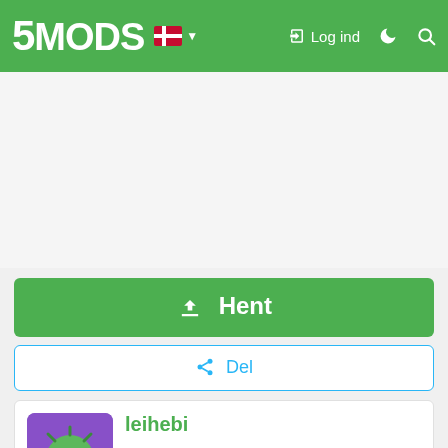5MODS — Log ind
[Figure (screenshot): Large empty white/light gray advertisement area below the navigation header]
Hent
Del
leihebi
[Figure (illustration): User avatar: green virus/pathogen character with a smiling face, drawn on a purple background]